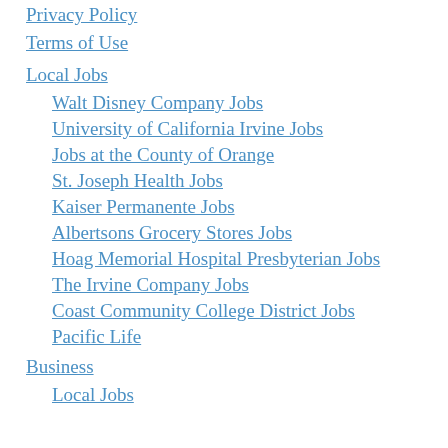Privacy Policy
Terms of Use
Local Jobs
Walt Disney Company Jobs
University of California Irvine Jobs
Jobs at the County of Orange
St. Joseph Health Jobs
Kaiser Permanente Jobs
Albertsons Grocery Stores Jobs
Hoag Memorial Hospital Presbyterian Jobs
The Irvine Company Jobs
Coast Community College District Jobs
Pacific Life
Business
Local Jobs